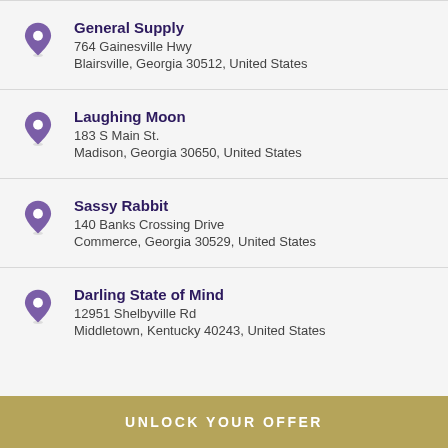General Supply
764 Gainesville Hwy
Blairsville, Georgia 30512, United States
Laughing Moon
183 S Main St.
Madison, Georgia 30650, United States
Sassy Rabbit
140 Banks Crossing Drive
Commerce, Georgia 30529, United States
Darling State of Mind
12951 Shelbyville Rd
Middletown, Kentucky 40243, United States
UNLOCK YOUR OFFER